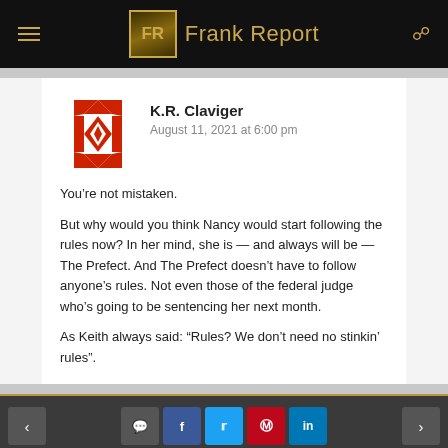FR Frank Report
K.R. Claviger
August 11, 2021 at 6:00 pm
You're not mistaken.

But why would you think Nancy would start following the rules now? In her mind, she is — and always will be — The Prefect. And The Prefect doesn't have to follow anyone's rules. Not even those of the federal judge who's going to be sentencing her next month.

As Keith always said: "Rules? We don't need no stinkin' rules".
< [comment] [f] [twitter] [pinterest] [in] >